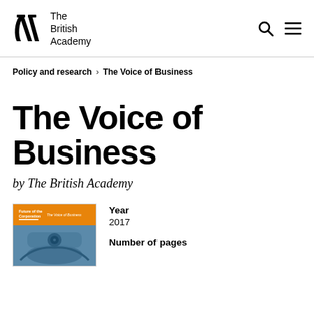The British Academy — logo with search and menu icons
Policy and research > The Voice of Business
The Voice of Business
by The British Academy
[Figure (illustration): Book cover of 'The Voice of Business' — Future of the Corporation series, orange and blue cover with an orange header and a photograph of a car interior/steering wheel.]
Year
2017

Number of pages